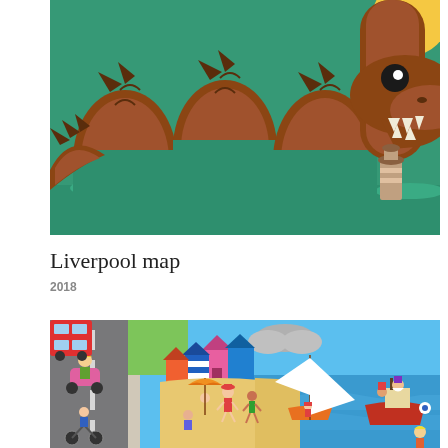[Figure (illustration): Colorful illustrated sea monster (resembling the Loch Ness Monster) emerging from green water, with brown arched body segments, sharp teeth, and a small lighthouse in the background. Vintage flat illustration style.]
Liverpool map
2018
[Figure (illustration): Colorful illustrated coastal/beach scene with cartoon characters on a sandy beach, blue ocean water with a white sailboat and a red fishing boat with a pirate character. Children play on the beach, and a road with a scooter is visible on the left. Bright flat illustration style.]